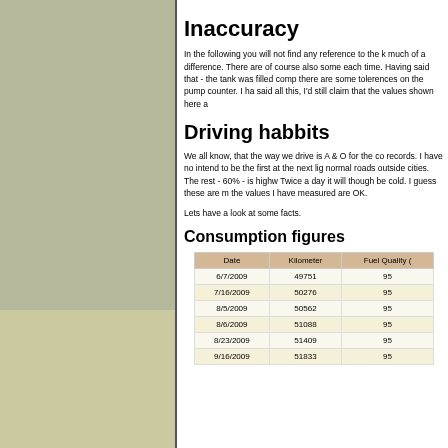Inaccuracy
In the following you will not find any reference to the k much of a difference. There are of course also some each time. Having said that - the tank was filled comp there are some tolerences on the pump counter. I ha said all this, I'd still claim that the values shown here a
Driving habbits
We all know, that the way we drive is A & O for the co records. I have no intend to be the first at the next lig normal roads outside cities. The rest - 60% - is highw Twice a day it will though be cold. I guess these are m the values I have measured are OK.
Lets have a look at some facts.
Consumption figures
| Date | Kilometer | Fuel Quality ( |
| --- | --- | --- |
| 6/7/2009 | 49751 | 95 |
| 7/16/2009 | 50276 | 95 |
| 8/5/2009 | 50562 | 95 |
| 8/6/2009 | 51088 | 95 |
| 8/23/2009 | 51409 | 95 |
| 9/16/2009 | 51833 | 95 |